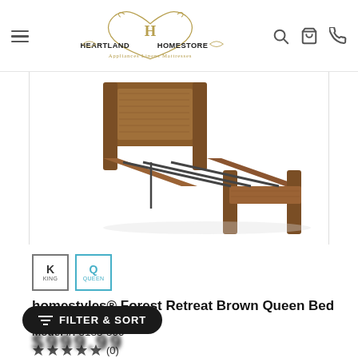[Figure (logo): Heartland Homestore logo with decorative heart shape, 'H' monogram, and tagline 'Appliances Linens Mattresses']
[Figure (photo): homestyles Forest Retreat Brown Queen Bed frame in walnut/brown wood finish, angled view showing headboard, footboard, and side rails with metal support frame]
K
KING
Q
QUEEN
homestyles® Forest Retreat Brown Queen Bed
Model #: 5185-500
(0)
FILTER & SORT
$999.99